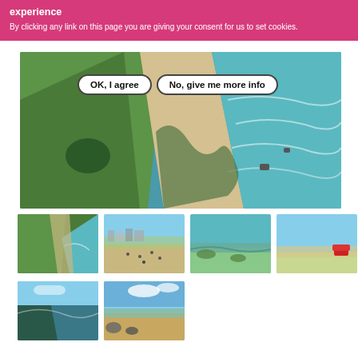experience
By clicking any link on this page you are giving your consent for us to set cookies.
[Figure (photo): Aerial view of a coastal beach with green farmland fields meeting turquoise ocean waves, with two button overlays: 'OK, I agree' and 'No, give me more info']
[Figure (photo): Small aerial view thumbnail of coastal beach with green fields]
[Figure (photo): Thumbnail of sandy beach with people and town in background]
[Figure (photo): Thumbnail of rocky tidal pool beach]
[Figure (photo): Thumbnail of sandy beach with blue sky and red object on cliff]
[Figure (photo): Thumbnail of coastal sea view with rocky cliffs]
[Figure (photo): Thumbnail of sandy beach with large rocks in foreground and blue sky]